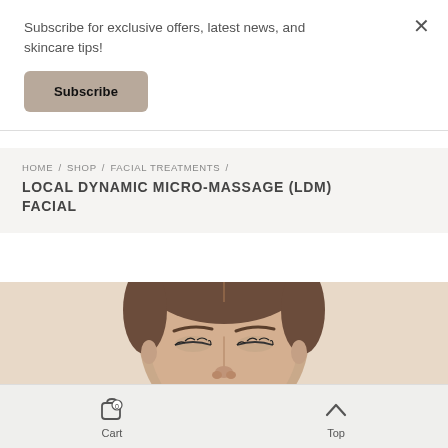Subscribe for exclusive offers, latest news, and skincare tips!
Subscribe
HOME / SHOP / FACIAL TREATMENTS / LOCAL DYNAMIC MICRO-MASSAGE (LDM) FACIAL
LOCAL DYNAMIC MICRO-MASSAGE (LDM) FACIAL
[Figure (photo): Close-up of a woman's face with eyes closed, serene expression, against a warm beige background]
Cart  Top